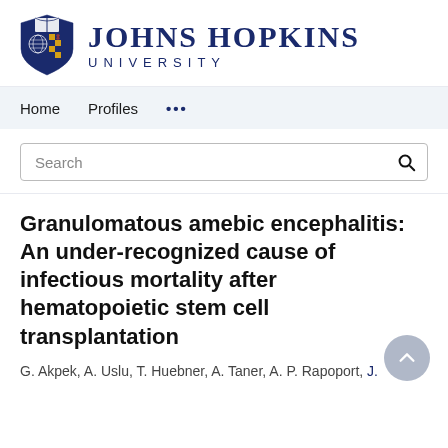[Figure (logo): Johns Hopkins University logo with shield and text]
Home   Profiles   ...
Search
Granulomatous amebic encephalitis: An under-recognized cause of infectious mortality after hematopoietic stem cell transplantation
G. Akpek, A. Uslu, T. Huebner, A. Taner, A. P. Rapoport, J.